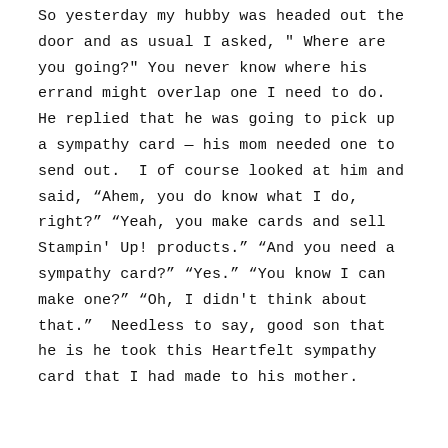So yesterday my hubby was headed out the door and as usual I asked, " Where are you going?" You never know where his errand might overlap one I need to do.  He replied that he was going to pick up a sympathy card — his mom needed one to send out.  I of course looked at him and said, “Ahem, you do know what I do, right?” “Yeah, you make cards and sell Stampin' Up! products.” “And you need a sympathy card?” “Yes.” “You know I can make one?” “Oh, I didn't think about that.”  Needless to say, good son that he is he took this Heartfelt sympathy card that I had made to his mother.